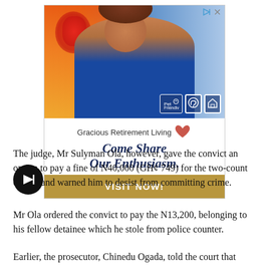[Figure (photo): Advertisement for Gracious Retirement Living showing a smiling older woman painting at a canvas, wearing a blue shirt. Ad includes icons for pet friendly, accessible, and home. Text reads 'Come Share Our Enthusiasm.' with a Visit Now button.]
The judge, Mr Sulyman Ola, however, gave the convict an option to pay a fine of N40,000 (GH¢ 749) for the two-count charge and warned him to desist from committing crime.
Mr Ola ordered the convict to pay the N13,200, belonging to his fellow detainee which he stole from police counter.
Earlier, the prosecutor, Chinedu Ogada, told the court that